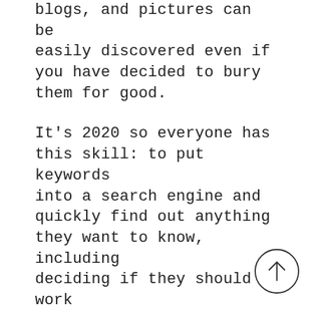blogs, and pictures can be easily discovered even if you have decided to bury them for good.

It's 2020 so everyone has this skill: to put keywords into a search engine and quickly find out anything they want to know, including deciding if they should work for you or buy something from you. That's why you need to invest time and resources into building your own social media content history, which you should consider as if you were adding assets to your bank
[Figure (other): Circular scroll-to-top button with an upward-pointing arrow icon]